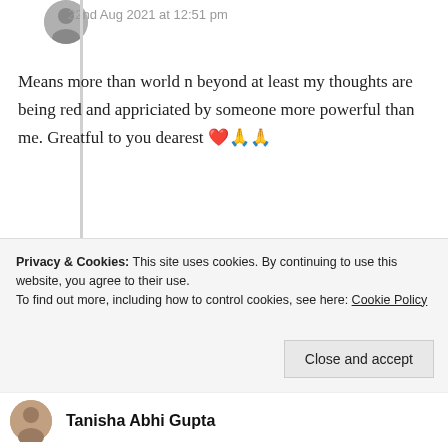22nd Aug 2021 at 12:51 pm
Means more than world n beyond at least my thoughts are being red and appriciated by someone more powerful than me. Greatful to you dearest ❤️🙏🙏
★ Liked by 1 person
Log in to Reply
Privacy & Cookies: This site uses cookies. By continuing to use this website, you agree to their use.
To find out more, including how to control cookies, see here: Cookie Policy
Close and accept
Tanisha Abhi Gupta